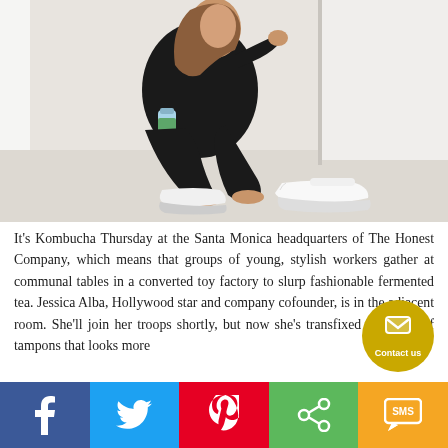[Figure (photo): Woman in black outfit sitting on floor against white wall, holding a drink bottle, white sneakers beside her, smiling upward.]
It's Kombucha Thursday at the Santa Monica headquarters of The Honest Company, which means that groups of young, stylish workers gather at communal tables in a converted toy factory to slurp fashionable fermented tea. Jessica Alba, Hollywood star and company cofounder, is in the adjacent room. She'll join her troops shortly, but now she's transfixed by a box of tampons that looks more